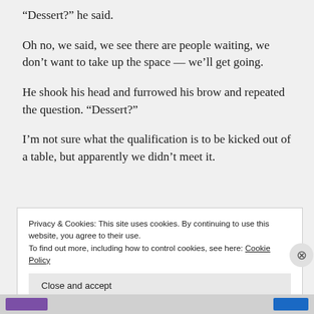“Dessert?” he said.
Oh no, we said, we see there are people waiting, we don’t want to take up the space — we’ll get going.
He shook his head and furrowed his brow and repeated the question. “Dessert?”
I’m not sure what the qualification is to be kicked out of a table, but apparently we didn’t meet it.
Privacy & Cookies: This site uses cookies. By continuing to use this website, you agree to their use.
To find out more, including how to control cookies, see here: Cookie Policy
Close and accept